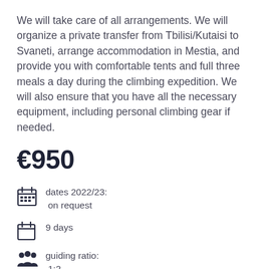We will take care of all arrangements. We will organize a private transfer from Tbilisi/Kutaisi to Svaneti, arrange accommodation in Mestia, and provide you with comfortable tents and full three meals a day during the climbing expedition. We will also ensure that you have all the necessary equipment, including personal climbing gear if needed.
€950
dates 2022/23: on request
9 days
guiding ratio: 1:2